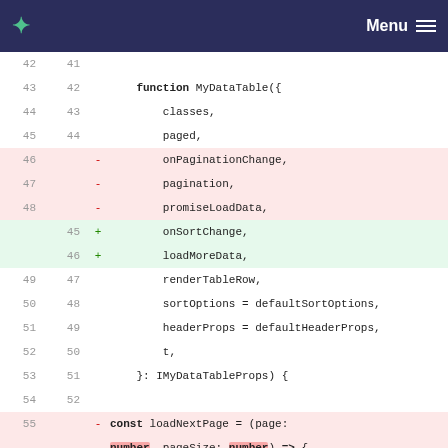Menu
[Figure (screenshot): Code diff view showing changes to MyDataTable function parameters, replacing onPaginationChange/pagination/promiseLoadData with onSortChange/loadMoreData, and showing a removed loadNextPage function]
42 41
43 42   function MyDataTable({
44 43       classes,
45 44       paged,
46  -      onPaginationChange,
47  -      pagination,
48  -      promiseLoadData,
   45 +    onSortChange,
   46 +    loadMoreData,
49 47       renderTableRow,
50 48       sortOptions = defaultSortOptions,
51 49       headerProps = defaultHeaderProps,
52 50       t,
53 51   }: IMyDataTableProps) {
54 52
55  -   const loadNextPage = (page: number, pageSize: number) => {
56  -       return promiseLoadData(page, pageSize, pagination.sort, pagination.filter, pagination.dir);